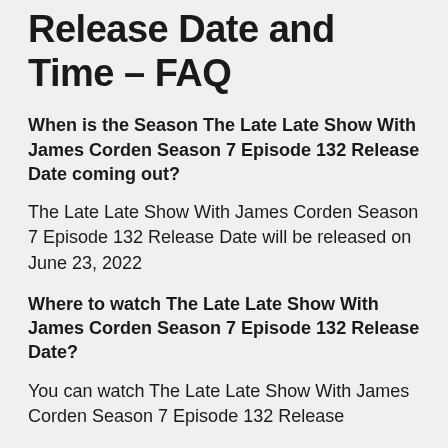Release Date and Time – FAQ
When is the Season The Late Late Show With James Corden Season 7 Episode 132 Release Date coming out?
The Late Late Show With James Corden Season 7 Episode 132 Release Date will be released on June 23, 2022
Where to watch The Late Late Show With James Corden Season 7 Episode 132 Release Date?
You can watch The Late Late Show With James Corden Season 7 Episode 132 Release